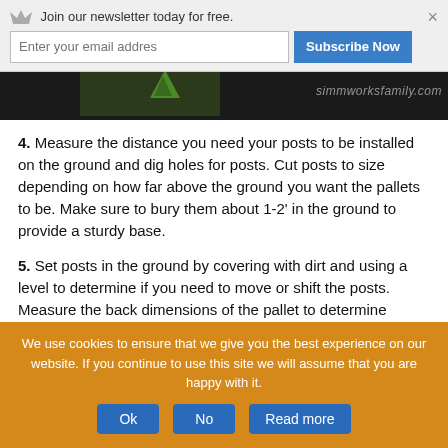Join our newsletter today for free. Enter your email addres [Subscribe Now] ×
[Figure (photo): Dark background image with green plant foliage visible, watermark text simmworksfamily.com on the right side]
4. Measure the distance you need your posts to be installed on the ground and dig holes for posts. Cut posts to size depending on how far above the ground you want the pallets to be. Make sure to bury them about 1-2' in the ground to provide a sturdy base.
5. Set posts in the ground by covering with dirt and using a level to determine if you need to move or shift the posts. Measure the back dimensions of the pallet to determine exactly how far apart the posts should be. This will vary with every pallet.
[Figure (photo): Two photos side by side showing pallet construction steps]
We use cookies to ensure that we give you the best experience on our website. If you continue to use this site we will assume that you are happy with it.
Ok  No  Read more